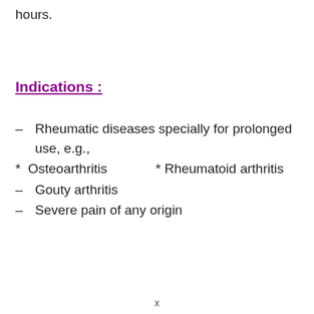hours.
Indications :
– Rheumatic diseases specially for prolonged use, e.g.,
* Osteoarthritis    * Rheumatoid arthritis
– Gouty arthritis
– Severe pain of any origin
x